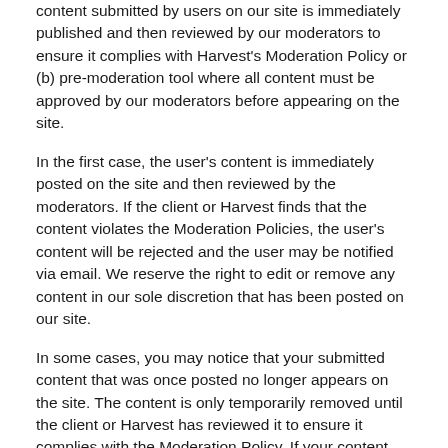content submitted by users on our site is immediately published and then reviewed by our moderators to ensure it complies with Harvest's Moderation Policy or (b) pre-moderation tool where all content must be approved by our moderators before appearing on the site.
In the first case, the user's content is immediately posted on the site and then reviewed by the moderators. If the client or Harvest finds that the content violates the Moderation Policies, the user's content will be rejected and the user may be notified via email. We reserve the right to edit or remove any content in our sole discretion that has been posted on our site.
In some cases, you may notice that your submitted content that was once posted no longer appears on the site. The content is only temporarily removed until the client or Harvest has reviewed it to ensure it complies with the Moderation Policy. If your content has been rejected, you may be notified via email from the client or Harvest.
With the pre-moderation tool, moderators must review and approve the user's content before it is posted onto the site. This may mean the user's content does not immediately appear on the site.